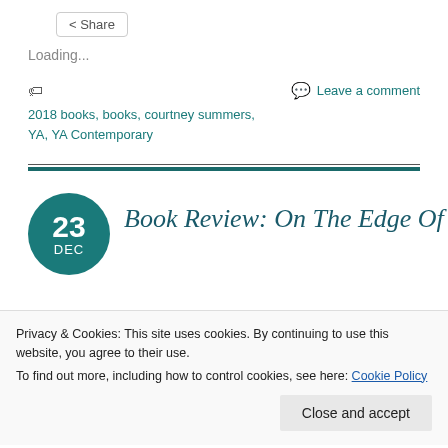Share
Loading...
2018 books, books, courtney summers, YA, YA Contemporary
Leave a comment
Book Review: On The Edge Of
Privacy & Cookies: This site uses cookies. By continuing to use this website, you agree to their use.
To find out more, including how to control cookies, see here: Cookie Policy
Close and accept